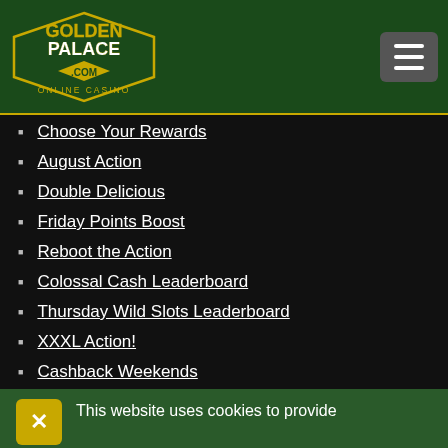Golden Palace Online Casino
Choose Your Rewards
August Action
Double Delicious
Friday Points Boost
Reboot the Action
Colossal Cash Leaderboard
Thursday Wild Slots Leaderboard
XXXL Action!
Cashback Weekends
This website uses cookies to provide its services, personalize ads and analyze traffic. By using this website, you agree to use cookies. Please read our privacy policy.